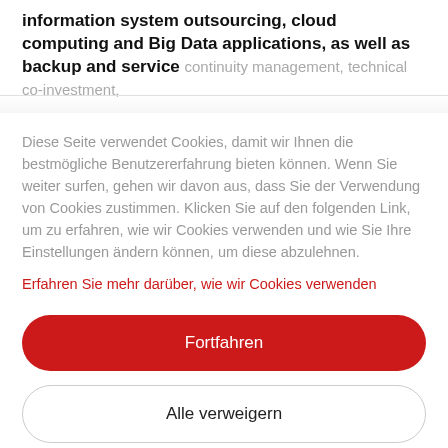information system outsourcing, cloud computing and Big Data applications, as well as backup and service continuity management, technical co-investment,
Diese Seite verwendet Cookies, damit wir Ihnen die bestmögliche Benutzererfahrung bieten können. Wenn Sie weiter surfen, gehen wir davon aus, dass Sie der Verwendung von Cookies zustimmen. Klicken Sie auf den folgenden Link, um zu erfahren, wie wir Cookies verwenden und wie Sie Ihre Einstellungen ändern können, um diese abzulehnen.
Erfahren Sie mehr darüber, wie wir Cookies verwenden
Fortfahren
Alle verweigern